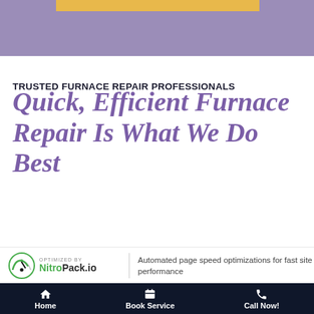[Figure (other): Purple banner header with orange horizontal bar accent at top of page]
TRUSTED FURNACE REPAIR PROFESSIONALS
Quick, Efficient Furnace Repair Is What We Do Best
[Figure (logo): NitroPack.io logo with speedometer icon, green and black text, OPTIMIZED BY label]
Automated page speed optimizations for fast site performance
Home | Book Service | Call Now!